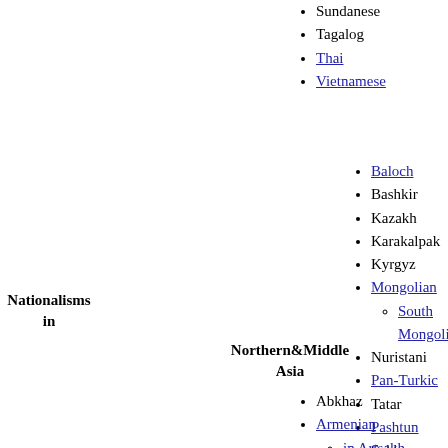Sundanese
Tagalog
Thai
Vietnamese
Nationalisms in
Northern&Middle Asia
Baloch
Bashkir
Kazakh
Karakalpak
Kyrgyz
Mongolian
South Mongolia
Nuristani
Pan-Turkic
Tatar
Pashtun
Sakha
Turkmen
Uyghur
Uzbek
Abkhaz
Armenian
in Artsakh